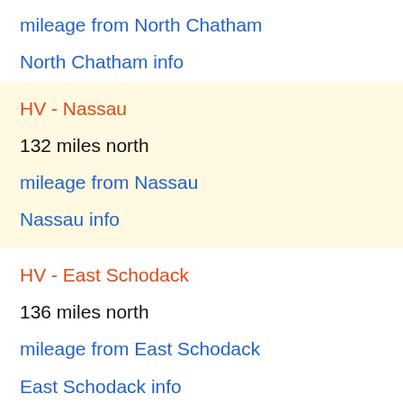mileage from North Chatham
North Chatham info
HV - Nassau
132 miles north
mileage from Nassau
Nassau info
HV - East Schodack
136 miles north
mileage from East Schodack
East Schodack info